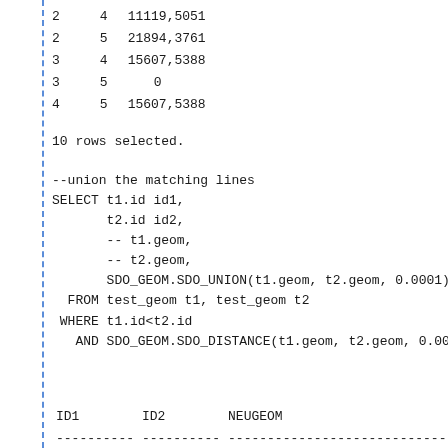| 2 | 4 | 11119,5051 |
| 2 | 5 | 21894,3761 |
| 3 | 4 | 15607,5388 |
| 3 | 5 | 0 |
| 4 | 5 | 15607,5388 |
10 rows selected.
--union the matching lines
SELECT t1.id id1,
       t2.id id2,
       -- t1.geom,
       -- t2.geom,
       SDO_GEOM.SDO_UNION(t1.geom, t2.geom, 0.0001)
  FROM test_geom t1, test_geom t2
 WHERE t1.id<t2.id
   AND SDO_GEOM.SDO_DISTANCE(t1.geom, t2.geom, 0.000
| ID1 | ID2 | NEUGEOM |
| --- | --- | --- |
| ---------- | ---------- | ------------------------------ |